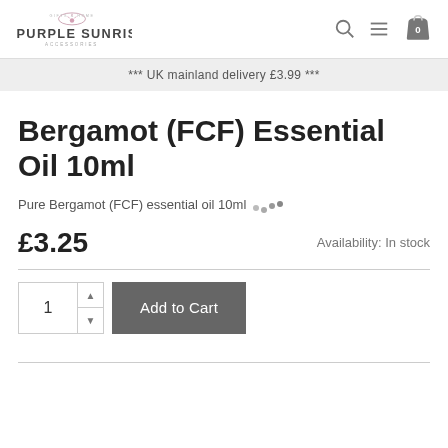PURPLE SUNRISE Accessories
*** UK mainland delivery £3.99 ***
Bergamot (FCF) Essential Oil 10ml
Pure Bergamot (FCF) essential oil 10ml
£3.25
Availability: In stock
1  Add to Cart